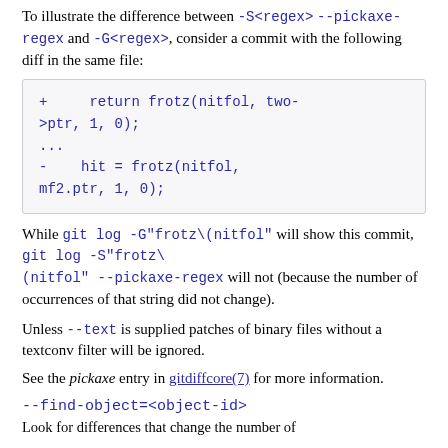To illustrate the difference between -S<regex> --pickaxe-regex and -G<regex>, consider a commit with the following diff in the same file:
[Figure (screenshot): Code block showing a diff with lines: + return frotz(nitfol, two->ptr, 1, 0); ... - hit = frotz(nitfol, mf2.ptr, 1, 0);]
While git log -G"frotz\(nitfol" will show this commit, git log -S"frotz\(nitfol" --pickaxe-regex will not (because the number of occurrences of that string did not change).
Unless --text is supplied patches of binary files without a textconv filter will be ignored.
See the pickaxe entry in gitdiffcore(7) for more information.
--find-object=<object-id>
Look for differences that change the number of